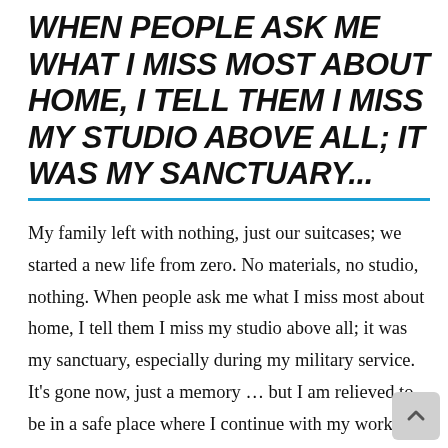WHEN PEOPLE ASK ME WHAT I MISS MOST ABOUT HOME, I TELL THEM I MISS MY STUDIO ABOVE ALL; IT WAS MY SANCTUARY...
My family left with nothing, just our suitcases; we started a new life from zero. No materials, no studio, nothing. When people ask me what I miss most about home, I tell them I miss my studio above all; it was my sanctuary, especially during my military service. It's gone now, just a memory … but I am relieved to be in a safe place where I continue with my work, and I know that I am among the lucky ones. Slowly we have begun to rebuild our lives here. I now work from